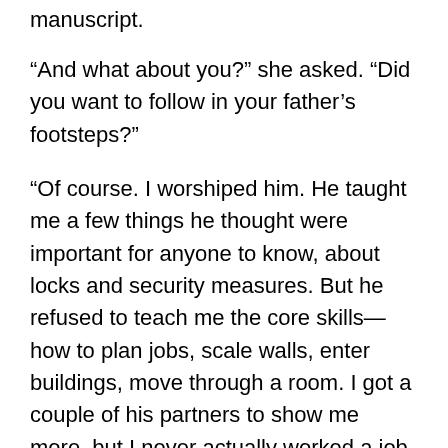manuscript.
“And what about you?” she asked. “Did you want to follow in your father’s footsteps?”
“Of course. I worshiped him. He taught me a few things he thought were important for anyone to know, about locks and security measures. But he refused to teach me the core skills— how to plan jobs, scale walls, enter buildings, move through a room. I got a couple of his partners to show me more, but I never actually worked a job. They said I should be the grifter because… because women would go for me, and told me my body was too large to make a good technician. My father was the one who wanted me to be a doctor. He was very insistent.”
West turned his head to face her, and her heart nearly broke at the look on his face. It was the look of a boy who